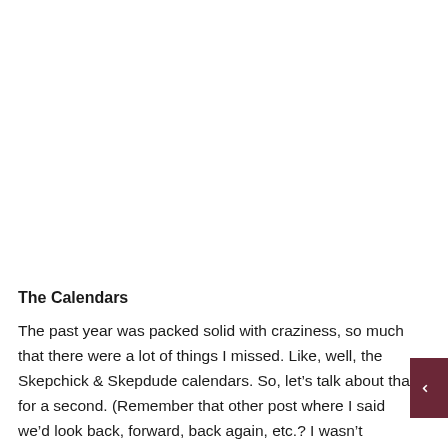The Calendars
The past year was packed solid with craziness, so much that there were a lot of things I missed. Like, well, the Skepchick & Skepdude calendars. So, let's talk about that for a second. (Remember that other post where I said we'd look back, forward, back again, etc.? I wasn't kidding.) I love doing the calendars, but few people realize just how much